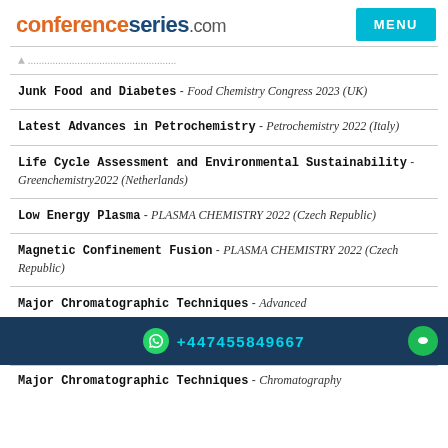conferenceseries.com  MENU
Junk Food and Diabetes - Food Chemistry Congress 2023 (UK)
Latest Advances in Petrochemistry - Petrochemistry 2022 (Italy)
Life Cycle Assessment and Environmental Sustainability - Greenchemistry2022 (Netherlands)
Low Energy Plasma - PLASMA CHEMISTRY 2022 (Czech Republic)
Magnetic Confinement Fusion - PLASMA CHEMISTRY 2022 (Czech Republic)
Major Chromatographic Techniques - Advanced
+447455849667
Major Chromatographic Techniques - Chromatography